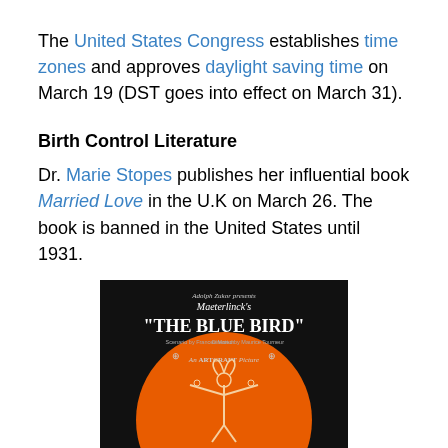The United States Congress establishes time zones and approves daylight saving time on March 19 (DST goes into effect on March 31).
Birth Control Literature
Dr. Marie Stopes publishes her influential book Married Love in the U.K on March 26. The book is banned in the United States until 1931.
[Figure (illustration): Movie poster for Maeterlinck's 'The Blue Bird', an Artcraft Picture. Black background with orange circle containing a line-art figure of a person with outstretched arms.]